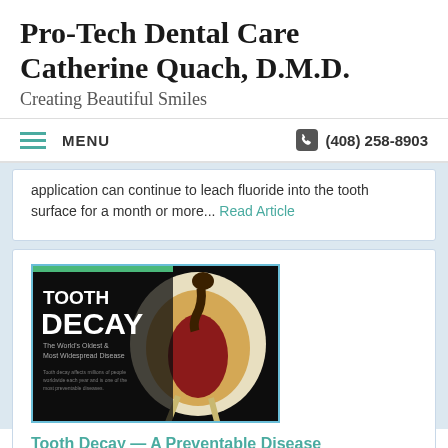Pro-Tech Dental Care Catherine Quach, D.M.D. — Creating Beautiful Smiles
MENU   (408) 258-8903
application can continue to leach fluoride into the tooth surface for a month or more... Read Article
[Figure (photo): Cross-section diagram of a tooth showing tooth decay, with text 'TOOTH DECAY – The World's Oldest & Most Widespread Disease']
Tooth Decay — A Preventable Disease
Tooth decay is the number one reason children and